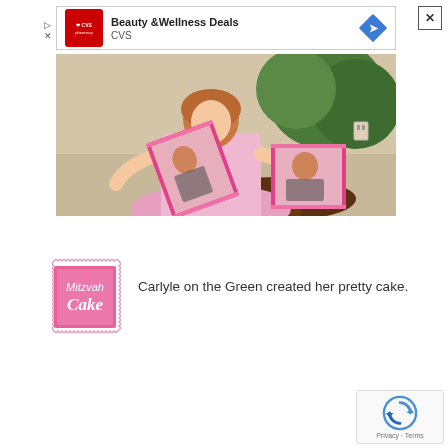[Figure (screenshot): CVS Pharmacy Beauty & Wellness Deals advertisement banner with CVS logo, text, and blue diamond arrow icon]
[Figure (photo): A young woman in a pink dress holding pink framed photos of herself, standing near a round wooden table with another framed photo on it, green plants in the background]
[Figure (logo): Mitzvah Cake logo: pink stamp-style border with pink background, text 'Mitzvah Cake' in white and black]
Carlyle on the Green created her pretty cake.
[Figure (other): Google reCAPTCHA widget with spinning arrows logo and 'Privacy - Terms' text]